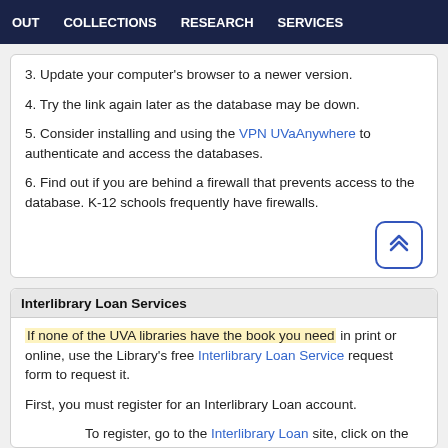OUT   COLLECTIONS   RESEARCH   SERVICES
3. Update your computer's browser to a newer version.
4. Try the link again later as the database may be down.
5. Consider installing and using the VPN UVaAnywhere to authenticate and access the databases.
6. Find out if you are behind a firewall that prevents access to the database. K-12 schools frequently have firewalls.
Interlibrary Loan Services
If none of the UVA libraries have the book you need in print or online, use the Library's free Interlibrary Loan Service request form to request it.
First, you must register for an Interlibrary Loan account.
To register, go to the Interlibrary Loan site, click on the button, FIRST TIME USER and fill out the form. Students and faculty in the Curry Off-Grounds program should register by clicking on the